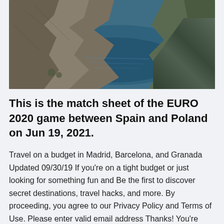[Figure (photo): Aerial view of a fjord with steep rocky cliffs on the left and right, with deep blue-green water visible below between the rocky formations. Appears to be a Scandinavian fjord, possibly Preikestolen/Pulpit Rock area in Norway.]
This is the match sheet of the EURO 2020 game between Spain and Poland on Jun 19, 2021.
Travel on a budget in Madrid, Barcelona, and Granada Updated 09/30/19 If you're on a tight budget or just looking for something fun and Be the first to discover secret destinations, travel hacks, and more. By proceeding, you agree to our Privacy Policy and Terms of Use. Please enter valid email address Thanks! You're